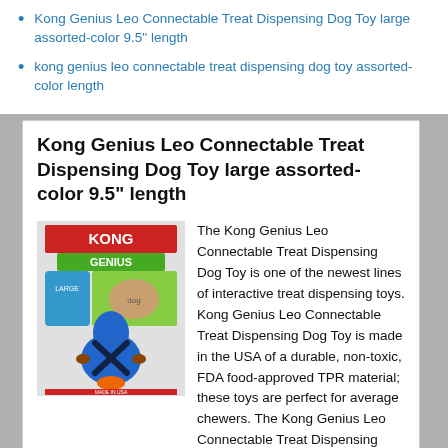Kong Genius Leo Connectable Treat Dispensing Dog Toy large assorted-color 9.5" length
kong genius leo connectable treat dispensing dog toy assorted-color length
Kong Genius Leo Connectable Treat Dispensing Dog Toy large assorted-color 9.5" length
[Figure (photo): Product photo of Kong Genius Leo Connectable Treat Dispensing Dog Toy - a blue bowling pin shaped toy with an X pattern, shown with original packaging]
The Kong Genius Leo Connectable Treat Dispensing Dog Toy is one of the newest lines of interactive treat dispensing toys. Kong Genius Leo Connectable Treat Dispensing Dog Toy is made in the USA of a durable, non-toxic, FDA food-approved TPR material; these toys are perfect for average chewers. The Kong Genius Leo Connectable Treat Dispensing Dog Toy can be used with any StuffÆN product, including KongÆs IQ Treats. Or you can fill the Kong Genius Leo Connectable Treat Dispensing Dog Toy with food and use as an engaging mealtime feeder. The dishwasher safe, Kong Genius Leo Connectable Treat Dispensing Dog Toy helps